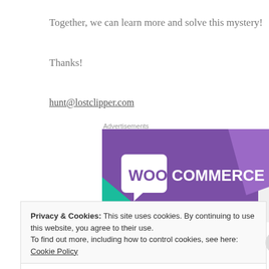Together, we can learn more and solve this mystery!
Thanks!
hunt@lostclipper.com
Advertisements
[Figure (logo): WooCommerce advertisement banner with purple background and teal/blue geometric shapes]
Privacy & Cookies: This site uses cookies. By continuing to use this website, you agree to their use.
To find out more, including how to control cookies, see here: Cookie Policy
Close and accept